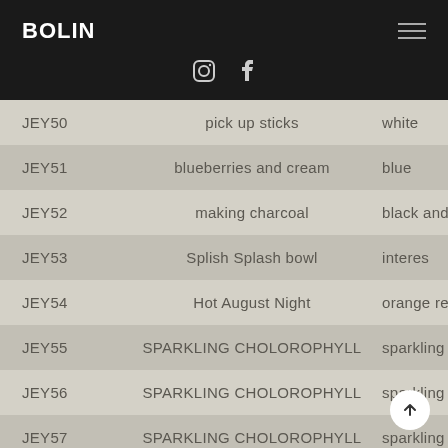BOLIN
| ID | Name | Description |
| --- | --- | --- |
| JEY50 | pick up sticks | white |
| JEY51 | blueberries and cream | blue |
| JEY52 | making charcoal | black and wh |
| JEY53 | Splish Splash bowl | interes |
| JEY54 | Hot August Night | orange re |
| JEY55 | SPARKLING CHOLOROPHYLL | sparkling |
| JEY56 | SPARKLING CHOLOROPHYLL | sparkling |
| JEY57 | SPARKLING CHOLOROPHYLL | sparkling |
| JEY58 | SPARKLING CHOLOROPHYLL | sparkling |
| JEY59 | blue boaat |  |